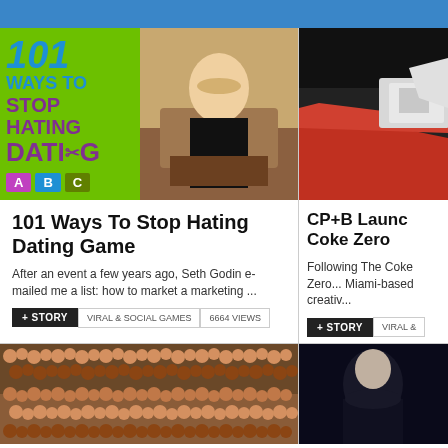[Figure (photo): 101 Ways To Stop Hating Dating Game thumbnail with green background, large text and a woman sitting at a table, with ABC buttons]
101 Ways To Stop Hating Dating Game
After an event a few years ago, Seth Godin e-mailed me a list: how to market a marketing ...
+ STORY    VIRAL & SOCIAL GAMES    6664 VIEWS
[Figure (photo): Close-up photo of red racing car front, dark background]
CP+B Launch Coke Zero
Following The Coke Zero ... Miami-based creative...
+ STORY    VIRAL &
[Figure (photo): Large crowd of people viewed from above, stadium seating]
[Figure (photo): Dark portrait photo of a person]